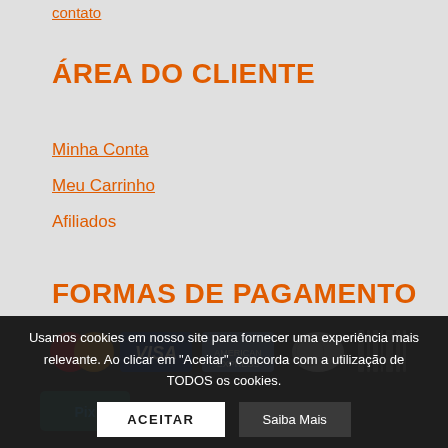contato
ÁREA DO CLIENTE
Minha Conta
Meu Carrinho
Afiliados
FORMAS DE PAGAMENTO
[Figure (other): Payment method icons: Mastercard, Visa, Amex, Diners Club, Boleto barcode, Pix]
Usamos cookies em nosso site para fornecer uma experiência mais relevante. Ao clicar em "Aceitar", concorda com a utilização de TODOS os cookies.
ACEITAR
Saiba Mais